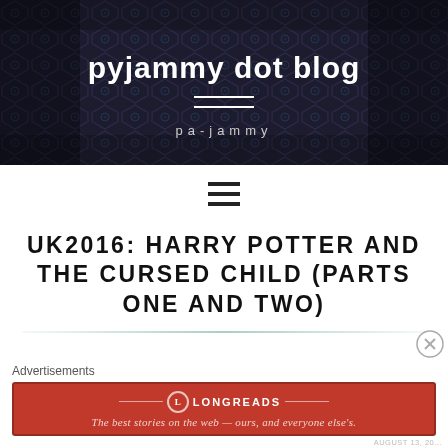pyjammy dot blog — pa-jammy
[Figure (other): Navigation hamburger menu icon (three horizontal lines)]
UK2016: HARRY POTTER AND THE CURSED CHILD (PARTS ONE AND TWO)
Advertisements
[Figure (other): Longreads advertisement banner: The best stories on the web — ours, and everyone else's.]